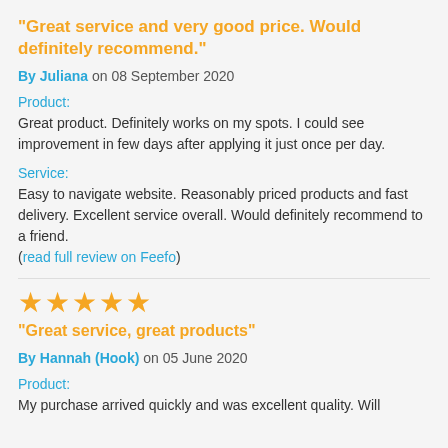"Great service and very good price. Would definitely recommend."
By Juliana on 08 September 2020
Product:
Great product. Definitely works on my spots. I could see improvement in few days after applying it just once per day.
Service:
Easy to navigate website. Reasonably priced products and fast delivery. Excellent service overall. Would definitely recommend to a friend. (read full review on Feefo)
[Figure (other): Five orange star rating icons]
"Great service, great products"
By Hannah (Hook) on 05 June 2020
Product:
My purchase arrived quickly and was excellent quality. Will